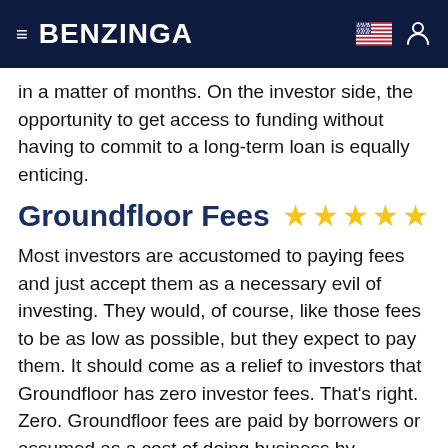BENZINGA
in a matter of months. On the investor side, the opportunity to get access to funding without having to commit to a long-term loan is equally enticing.
Groundfloor Fees ★★★★★
Most investors are accustomed to paying fees and just accept them as a necessary evil of investing. They would, of course, like those fees to be as low as possible, but they expect to pay them. It should come as a relief to investors that Groundfloor has zero investor fees. That's right. Zero. Groundfloor fees are paid by borrowers or assumed as a cost of doing business by Groundfloor. In either case, it doesn't pass fees on to investors, which is a huge value add. It